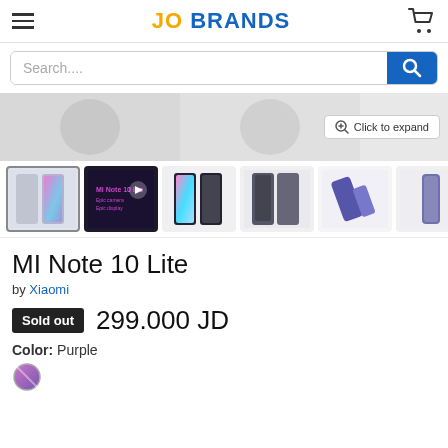JO BRANDS
Search....
[Figure (screenshot): Product image area showing top portion of Xiaomi MI Note 10 Lite phone with 'Click to expand' button]
[Figure (photo): Thumbnail strip of MI Note 10 Lite product images: two phones front view, video thumbnail, colorful front shot, back view, angled phone, side view, with next arrow]
MI Note 10 Lite
by Xiaomi
Sold out  299.000 JD
Color: Purple
[Figure (illustration): Purple color swatch circle]